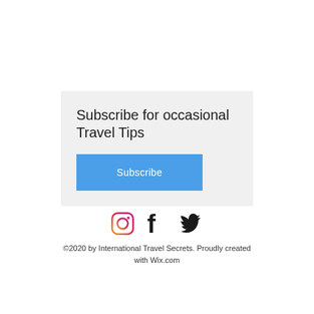Subscribe for occasional Travel Tips
Subscribe
[Figure (other): Social media icons: Instagram, Facebook, Twitter]
©2020 by International Travel Secrets. Proudly created with Wix.com